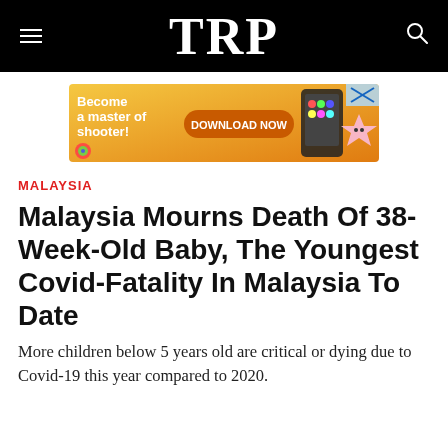TRP
[Figure (illustration): Advertisement banner: 'Become a master of shooter! DOWNLOAD NOW' with colorful game graphics and a pink star character on an orange background.]
MALAYSIA
Malaysia Mourns Death Of 38-Week-Old Baby, The Youngest Covid-Fatality In Malaysia To Date
More children below 5 years old are critical or dying due to Covid-19 this year compared to 2020.